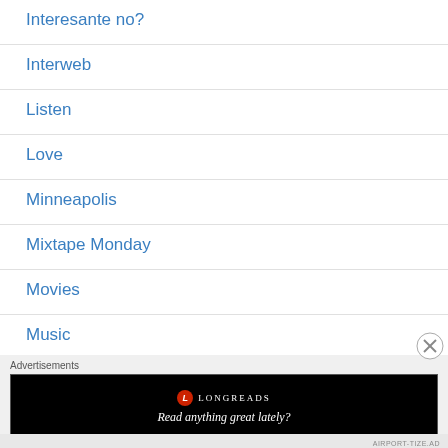Interesante no?
Interweb
Listen
Love
Minneapolis
Mixtape Monday
Movies
Music
Advertisements
[Figure (other): Longreads advertisement banner with logo and tagline 'Read anything great lately?']
AIRPORT-TIZE.AD